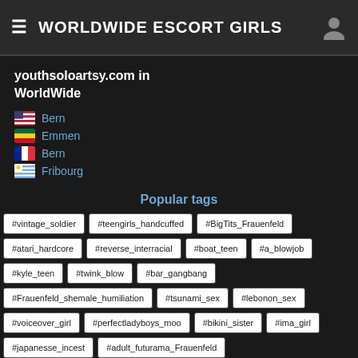WORLDWIDE ESCORT GIRLS
youthsoloartsy.com in WorldWide
Bern
Emmen
Bern
Fribourg
Popular tags
#vintage_soldier #teengirls_handcuffed #BigTits_Frauenfeld #atari_hardcore #reverse_interracial #boat_teen #a_blowjob #kyle_teen #twink_blow #bar_gangbang #Frauenfeld_shemale_humiliation #tsunami_sex #lebonon_sex #voiceover_girl #perfectladyboys_moo #bikini_sister #ima_girl #japanesse_incest #adult_futurama_Frauenfeld